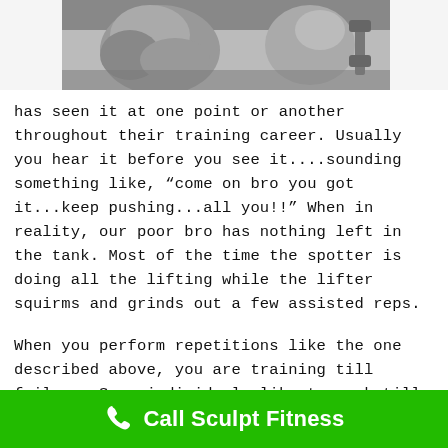[Figure (photo): Black and white photo of muscular person(s) in a gym setting, cropped showing upper body muscles]
has seen it at one point or another throughout their training career. Usually you hear it before you see it....sounding something like, “come on bro you got it...keep pushing...all you!!” When in reality, our poor bro has nothing left in the tank. Most of the time the spotter is doing all the lifting while the lifter squirms and grinds out a few assisted reps.
When you perform repetitions like the one described above, you are training till failure. Some individuals like to work till they cannot perform another full rep, while others go past that point and have a partner assist them in lifting the weight.....neither is a good
Call Sculpt Fitness